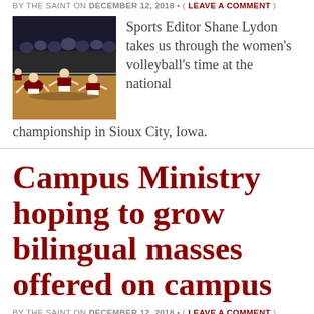BY THE SAINT ON DECEMBER 12, 2018 • ( LEAVE A COMMENT )
[Figure (photo): Volleyball players on a court during a match, players diving and in action]
Sports Editor Shane Lydon takes us through the women's volleyball's time at the national championship in Sioux City, Iowa.
Campus Ministry hoping to grow bilingual masses offered on campus
BY THE SAINT ON DECEMBER 12, 2018 • ( LEAVE A COMMENT )